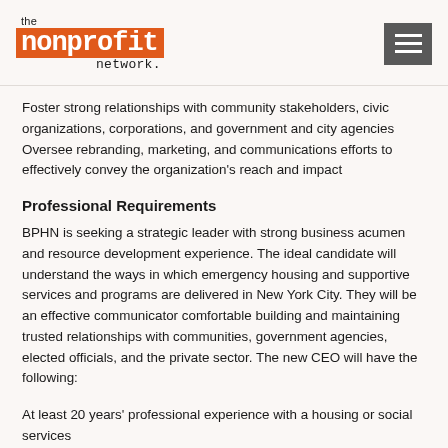[Figure (logo): The Nonprofit Network logo — 'the' in small text above an orange rectangle containing 'nonprofit' in bold monospace white text, with 'network.' below in monospace]
Foster strong relationships with community stakeholders, civic organizations, corporations, and government and city agencies Oversee rebranding, marketing, and communications efforts to effectively convey the organization's reach and impact
Professional Requirements
BPHN is seeking a strategic leader with strong business acumen and resource development experience. The ideal candidate will understand the ways in which emergency housing and supportive services and programs are delivered in New York City. They will be an effective communicator comfortable building and maintaining trusted relationships with communities, government agencies, elected officials, and the private sector. The new CEO will have the following:
At least 20 years' professional experience with a housing or social services